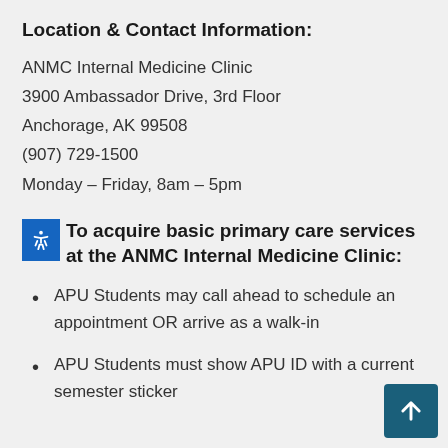Location & Contact Information:
ANMC Internal Medicine Clinic
3900 Ambassador Drive, 3rd Floor
Anchorage, AK 99508
(907) 729-1500
Monday – Friday, 8am – 5pm
To acquire basic primary care services at the ANMC Internal Medicine Clinic:
APU Students may call ahead to schedule an appointment OR arrive as a walk-in
APU Students must show APU ID with a current semester sticker